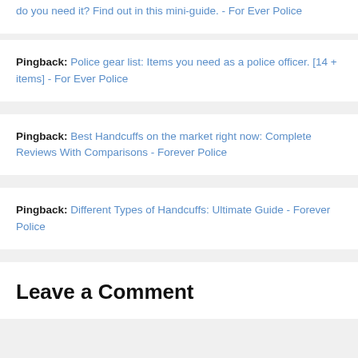do you need it? Find out in this mini-guide. - For Ever Police
Pingback: Police gear list: Items you need as a police officer. [14 + items] - For Ever Police
Pingback: Best Handcuffs on the market right now: Complete Reviews With Comparisons - Forever Police
Pingback: Different Types of Handcuffs: Ultimate Guide - Forever Police
Leave a Comment